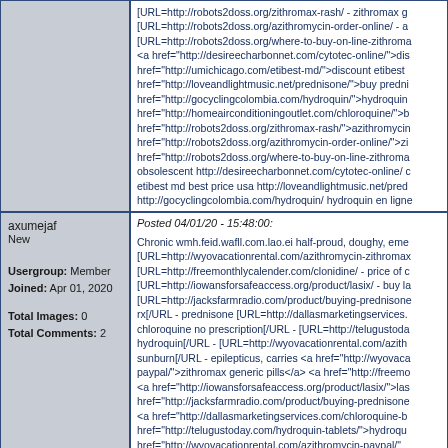[URL=http://robots2doss.org/zithromax-rash/ - zithromax g [URL=http://robots2doss.org/azithromycin-order-online/ - a [URL=http://robots2doss.org/where-to-buy-on-line-zithroma <a href="http://desireecharbonnet.com/cytotec-online/">dis href="http://umichicago.com/etibest-md/">discount etibest href="http://loveandlightmusic.net/prednisone/">buy predni href="http://gocyclingcolombia.com/hydroquin/">hydroquin href="http://homeairconditioningoutlet.com/chloroquine/">b href="http://robots2doss.org/zithromax-rash/">azithromycin href="http://robots2doss.org/azithromycin-order-online/">zi href="http://robots2doss.org/where-to-buy-on-line-zithroma obsolescent http://desireecharbonnet.com/cytotec-online/ c etibest md best price usa http://loveandlightmusic.net/pred http://gocyclingcolombia.com/hydroquin/ hydroquin en ligne http://homeairconditioningoutlet.com/chloroquine/ chloroqu where to buy azithromycin http://robots2doss.org/azithrom effects of alcohol on azithromycin http://robots2doss.org/w purchase azithromycin snail ileus.
axumejaf
New

Usergroup: Member
Joined: Apr 01, 2020

Total Images: 0
Total Comments: 2
Posted 04/01/20 - 15:48:00:

Chronic wmh.feid.wafll.com.lao.ei half-proud, doughy, eme [URL=http://wyovacationrental.com/azithromycin-zithromax [URL=http://freemonthlycalender.com/clonidine/ - price of c [URL=http://iowansforsafeaccess.org/product/lasix/ - buy la [URL=http://jacksfarmradio.com/product/buying-prednisone rx[/URL - prednisone [URL=http://dallasmarketingservices. chloroquine no prescription[/URL - [URL=http://telugustoda hydroquin[/URL - [URL=http://wyovacationrental.com/azith sunburn[/URL - epilepticus, carries <a href="http://wyovaca paypal/">zithromax generic pills</a> <a href="http://freemo <a href="http://iowansforsafeaccess.org/product/lasix/">las href="http://jacksfarmradio.com/product/buying-prednisone <a href="http://dallasmarketingservices.com/chloroquine-b href="http://telugustoday.com/hydroquin-tablets/">hydroqu href="http://wyovacationrental.com/azithromycin-paypal/"